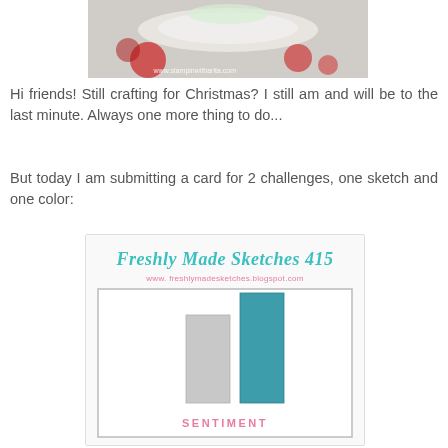[Figure (photo): Christmas-themed photo with a white cake or decoration and red elements, watermark reading www.stampinwitharita.com]
Hi friends! Still crafting for Christmas? I still am and will be to the last minute. Always one more thing to do...
But today I am submitting a card for 2 challenges, one sketch and one color:
[Figure (illustration): Freshly Made Sketches 415 card sketch template showing two vertical bars (gray and teal) on a white card with SENTIMENT text at the bottom. URL: www.freshlymadesketches.blogspot.com]